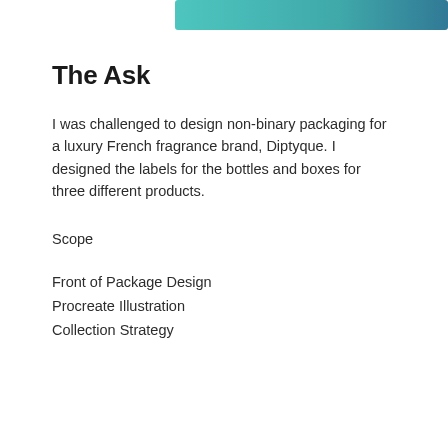[Figure (illustration): Teal and dark teal gradient decorative bar at the top right of the page]
The Ask
I was challenged to design non-binary packaging for a luxury French fragrance brand, Diptyque. I designed the labels for the bottles and boxes for three different products.
Scope
Front of Package Design
Procreate Illustration
Collection Strategy